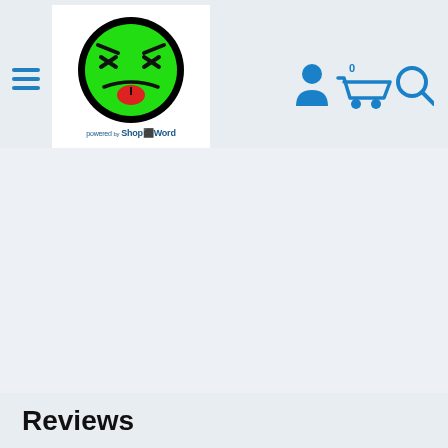[Figure (logo): E-commerce website header with angry green emoji face logo, hamburger menu icon, and navigation icons (user, cart with 0 items, search) in blue. Powered by ShopTheWord branding below logo.]
Reviews